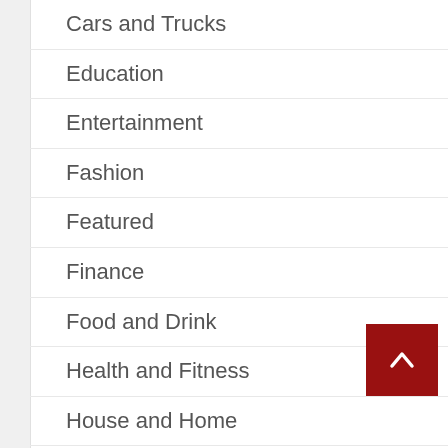Cars and Trucks
Education
Entertainment
Fashion
Featured
Finance
Food and Drink
Health and Fitness
House and Home
Jobs and Careers
Marketing and Advertising
Online Business